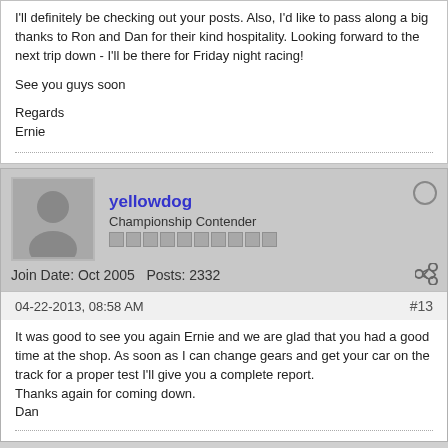I'll definitely be checking out your posts. Also, I'd like to pass along a big thanks to Ron and Dan for their kind hospitality. Looking forward to the next trip down - I'll be there for Friday night racing!
See you guys soon
Regards
Ernie
yellowdog
Championship Contender
Join Date: Oct 2005  Posts: 2332
04-22-2013, 08:58 AM  #13
It was good to see you again Ernie and we are glad that you had a good time at the shop. As soon as I can change gears and get your car on the track for a proper test I'll give you a complete report.
Thanks again for coming down.
Dan